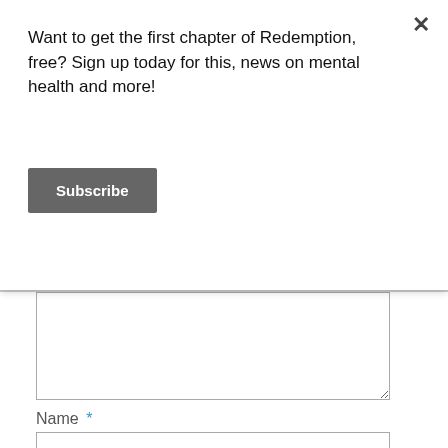Want to get the first chapter of Redemption, free? Sign up today for this, news on mental health and more!
Subscribe
Name *